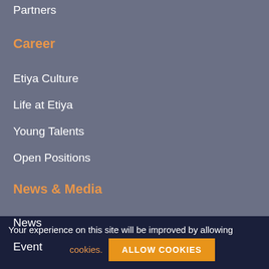Partners
Career
Etiya Culture
Life at Etiya
Young Talents
Open Positions
News & Media
News
Event
Press Kit
Your experience on this site will be improved by allowing cookies.
ALLOW COOKIES